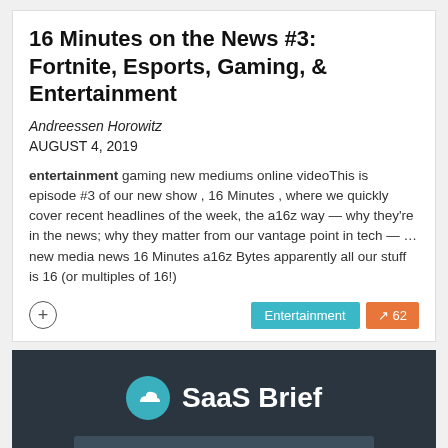16 Minutes on the News #3: Fortnite, Esports, Gaming, & Entertainment
Andreessen Horowitz
AUGUST 4, 2019
entertainment gaming new mediums online videoThis is episode #3 of our new show , 16 Minutes , where we quickly cover recent headlines of the week, the a16z way — why they're in the news; why they matter from our vantage point in tech — … new media news 16 Minutes a16z Bytes apparently all our stuff is 16 (or multiples of 16!)
[Figure (logo): SaaS Brief logo with teal cloud icon on dark background]